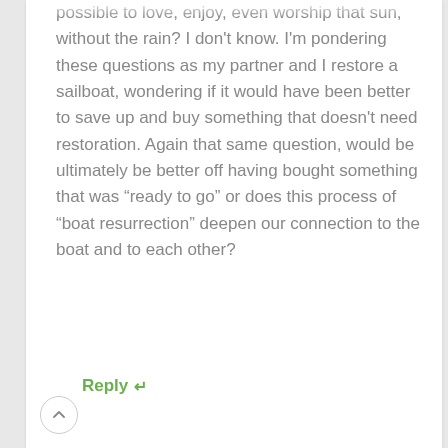possible to love, enjoy, even worship that sun, without the rain? I don't know. I'm pondering these questions as my partner and I restore a sailboat, wondering if it would have been better to save up and buy something that doesn't need restoration. Again that same question, would be ultimately be better off having bought something that was “ready to go” or does this process of “boat resurrection” deepen our connection to the boat and to each other?
Reply ↩